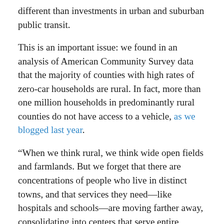different than investments in urban and suburban public transit.
This is an important issue: we found in an analysis of American Community Survey data that the majority of counties with high rates of zero-car households are rural. In fact, more than one million households in predominantly rural counties do not have access to a vehicle, as we blogged last year.
“When we think rural, we think wide open fields and farmlands. But we forget that there are concentrations of people who live in distinct towns, and that services they need—like hospitals and schools—are moving farther away, consolidating into centers that serve entire regions,” Beth responded. “We need transit that can connect people to those regional hubs.”
Lack of bipartisanship